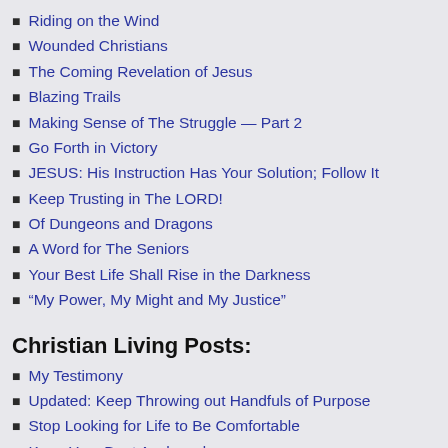Riding on the Wind
Wounded Christians
The Coming Revelation of Jesus
Blazing Trails
Making Sense of The Struggle — Part 2
Go Forth in Victory
JESUS: His Instruction Has Your Solution; Follow It
Keep Trusting in The LORD!
Of Dungeons and Dragons
A Word for The Seniors
Your Best Life Shall Rise in the Darkness
“My Power, My Might and My Justice”
Christian Living Posts:
My Testimony
Updated: Keep Throwing out Handfuls of Purpose
Stop Looking for Life to Be Comfortable
Keep Your Boat Anchored
Keep Your Mind on the Things Above
Prayer Posts: